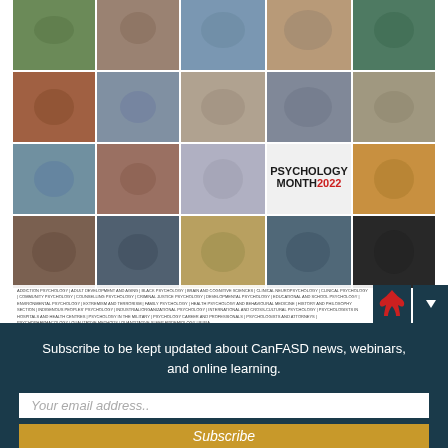[Figure (photo): Psychology Month 2022 promotional photo collage showing diverse people and activities arranged in a grid, with 'PSYCHOLOGY MONTH 2022' text overlay on a light background panel.]
Subscribe to be kept updated about CanFASD news, webinars, and online learning.
Your email address..
Subscribe